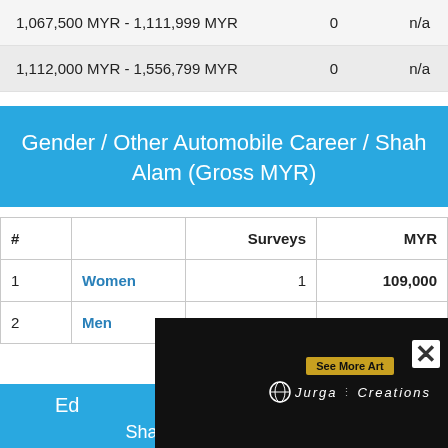|  |  | Surveys | MYR |
| --- | --- | --- | --- |
| 1,067,500 MYR - 1,111,999 MYR |  | 0 | n/a |
| 1,112,000 MYR - 1,556,799 MYR |  | 0 | n/a |
Gender / Other Automobile Career / Shah Alam (Gross MYR)
| # |  | Surveys | MYR |
| --- | --- | --- | --- |
| 1 | Women | 1 | 109,000 |
| 2 | Men | 2 | 60,000 |
Ed... r / Shah Alam (Gross MYR)